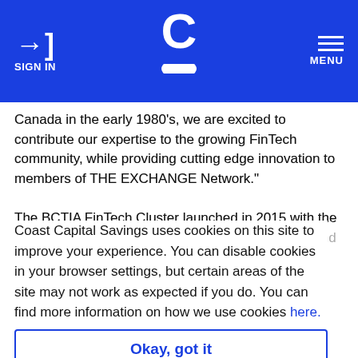SIGN IN | [Logo] | MENU
Canada in the early 1980's, we are excited to contribute our expertise to the growing FinTech community, while providing cutting edge innovation to members of THE EXCHANGE Network."
The BCTIA FinTech Cluster launched in 2015 with the announcement of a collaboration between BCTIA and p[artner]...
Coast Capital Savings uses cookies on this site to improve your experience. You can disable cookies in your browser settings, but certain areas of the site may not work as expected if you do. You can find more information on how we use cookies here.
Okay, got it